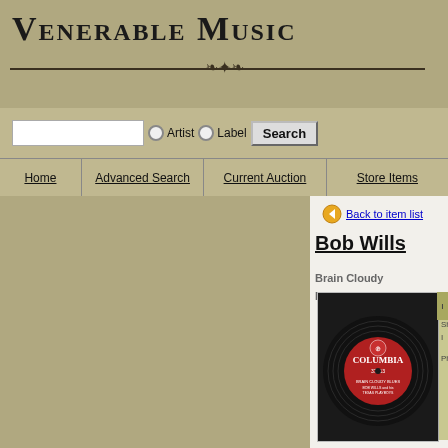Venerable Music
Artist  Label  Search
Home  Advanced Search  Current Auction  Store Items
Back to item list
Bob Wills
Brain Cloudy Blues/Sugar Moon
[Figure (photo): Columbia Records 78rpm vinyl record label for 'Brain Cloudy Blues' by Bob Wills and his Texas Playboys, record number 37313]
Item Infor...
Sh...
I...
Physical...